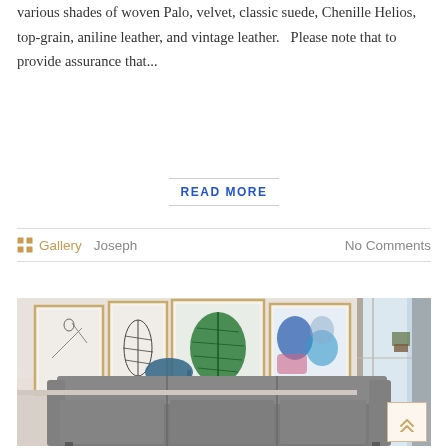various shades of woven Palo, velvet, classic suede, Chenille Helios, top-grain, aniline leather, and vintage leather.   Please note that to provide assurance that...
READ MORE
Gallery   Joseph   No Comments
[Figure (photo): A gray sectional sofa in a living room with framed botanical/abstract art prints on the wall and a tall floor lamp, bright window visible to the right.]